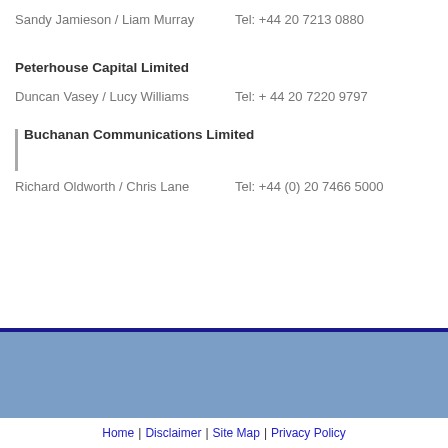Sandy Jamieson / Liam Murray    Tel: +44 20 7213 0880
Peterhouse Capital Limited
Duncan Vasey / Lucy Williams    Tel: + 44 20 7220 9797
Buchanan Communications Limited
Richard Oldworth / Chris Lane    Tel: +44 (0) 20 7466 5000
Home | Disclaimer | Site Map | Privacy Policy